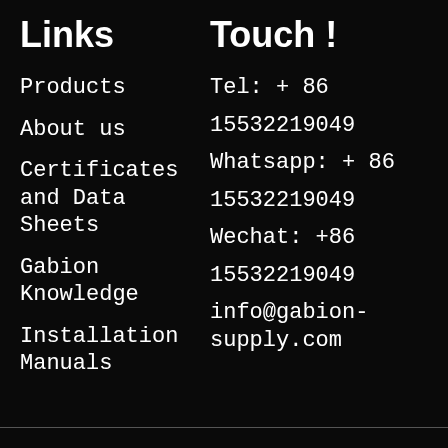Links
Touch !
Products
About us
Certificates and Data Sheets
Gabion Knowledge
Installation Manuals
Tel: + 86 15532219049
Whatsapp: + 86 15532219049
Wechat: +86 15532219049
info@gabion-supply.com